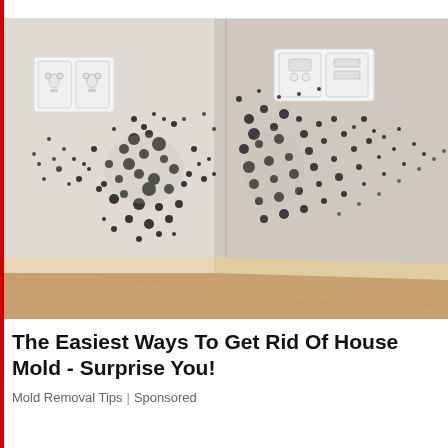[Figure (photo): Photograph of a room corner showing severe black mold growth on white walls, with European-style electrical outlets and switches visible near the top, and a wooden floor baseboard at the bottom.]
The Easiest Ways To Get Rid Of House Mold - Surprise You!
Mold Removal Tips | Sponsored